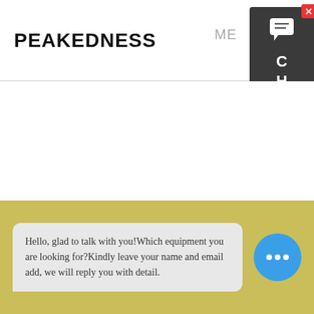PEAKEDNESS
ME
[Figure (other): Dark grey vertical chat sidebar widget with close button (red X), speech bubble icon, and vertical text reading C H A T]
Hello, glad to talk with you!Which equipment you are looking for?Kindly leave your name and email add, we will reply you with detail.
[Figure (other): Blue circular chat avatar button with three white dots (ellipsis typing indicator)]